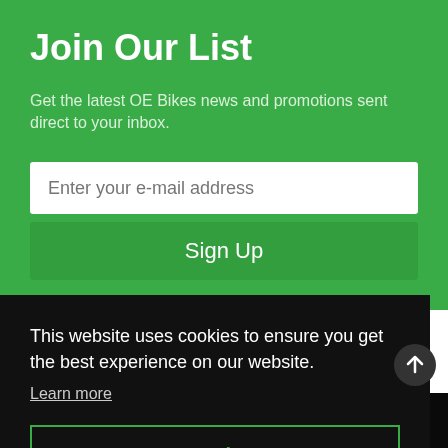Join Our List
Get the latest OE Bikes news and promotions sent direct to your inbox.
Enter your e-mail address
Sign Up
This website uses cookies to ensure you get the best experience on our website.
Learn more
Got it!
Trek
Services